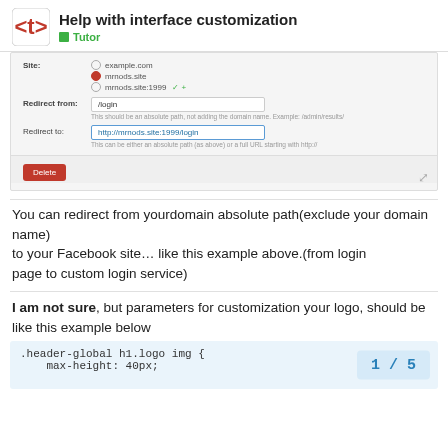Help with interface customization — Tutor
[Figure (screenshot): Form screenshot showing Site radio buttons (example.com, mrnods.site selected, mrnods.site:1999), Redirect from field (/login), Redirect to field (http://mrnods.site:1999/login), and a Delete button]
You can redirect from yourdomain absolute path(exclude your domain name)
to your Facebook site… like this example above.(from login page to custom login service)
I am not sure, but parameters for customization your logo, should be like this example below
[Figure (screenshot): Code block showing: .header-global h1.logo img { max-height: 40px; with a page number badge showing 1 / 5]